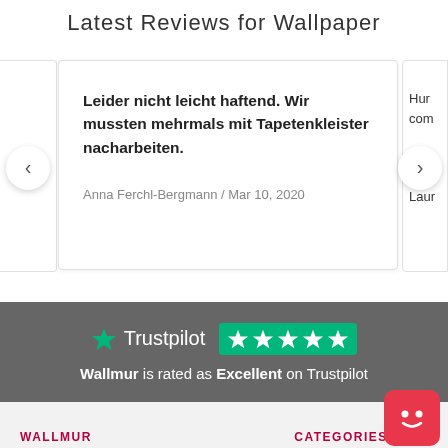Latest Reviews for Wallpaper
Leider nicht leicht haftend. Wir mussten mehrmals mit Tapetenkleister nacharbeiten.

Anna Ferchl-Bergmann / Mar 10, 2020
[Figure (screenshot): Trustpilot logo with green star and 5 green star rating boxes, dark grey background]
Wallmur is rated as Excellent on Trustpilot
[Figure (illustration): Red rounded square chatbot icon with smiley face]
WALLMUR
CATEGORIES